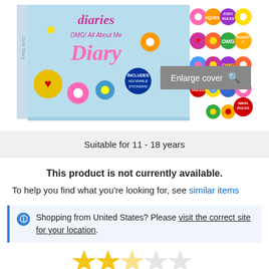[Figure (photo): Book product image showing 'Dork Diaries OMG! All About Me Diary' box set with colorful flower and heart stickers on the cover and back, displayed on white background.]
Enlarge cover
Suitable for 11 - 18 years
This product is not currently available.
To help you find what you're looking for, see similar items
Shopping from United States? Please visit the correct site for your location.
[Figure (illustration): Star rating row showing approximately 2.5 out of 5 stars (2 full yellow stars, 1 half star, 2 empty stars)]